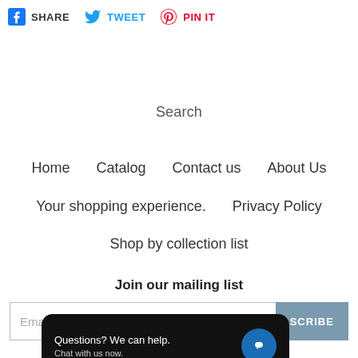SHARE   TWEET   PIN IT
Search
Home    Catalog    Contact us    About Us
Your shopping experience.    Privacy Policy
Shop by collection list
Join our mailing list
Email address  SUBSCRIBE
Questions? We can help. Chat with us now.